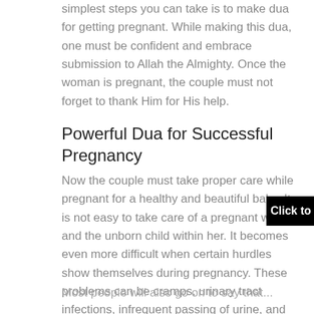simplest steps you can take is to make dua for getting pregnant. While making this dua, one must be confident and embrace submission to Allah the Almighty. Once the woman is pregnant, the couple must not forget to thank Him for His help.
Powerful Dua for Successful Pregnancy
Now the couple must take proper care while pregnant for a healthy and beautiful baby. It is not easy to take care of a pregnant woman and the unborn child within her. It becomes even more difficult when certain hurdles show themselves during pregnancy. These problems can be cramps, urinary tract infections, infrequent passing of urine, and even heartburn and indigestion.
[Figure (other): Black button/banner overlay with text: Click to Consult on Whatsapp]
Most people will also go on to say that...